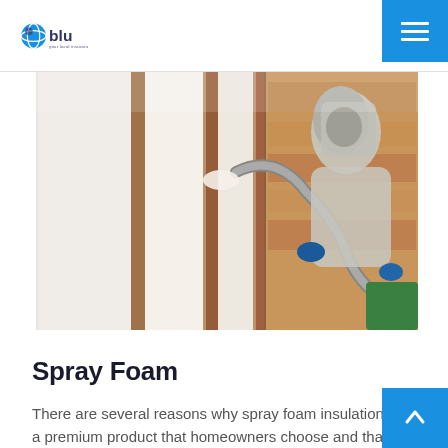blu
[Figure (photo): Worker in protective suit and mask applying spray foam insulation between wooden wall studs in a building under construction. White foam visible on the studs. Blue globe/gear icon overlay in bottom-left of image.]
Spray Foam
There are several reasons why spray foam insulation is a premium product that homeowners choose and that decision is usually based on the materials benefits